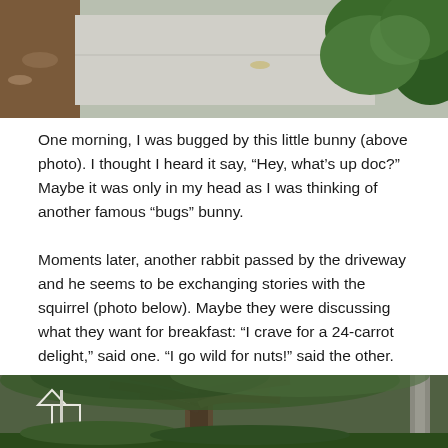[Figure (photo): Outdoor photo showing a concrete sidewalk/driveway with mulch, leaf litter, and green shrubs/bushes along the border.]
One morning, I was bugged by this little bunny (above photo). I thought I heard it say, “Hey, what’s up doc?” Maybe it was only in my head as I was thinking of another famous “bugs” bunny.
Moments later, another rabbit passed by the driveway and he seems to be exchanging stories with the squirrel (photo below). Maybe they were discussing what they want for breakfast: “I crave for a 24-carrot delight,” said one. “I go wild for nuts!” said the other.
[Figure (photo): Outdoor garden photo showing large oak trees with spreading branches, green foliage, and a small white wooden structure (birdhouse or decorative arch) on the left side.]